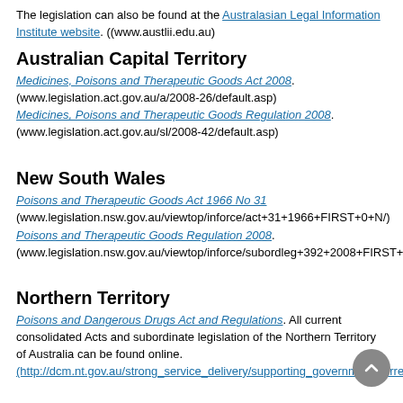The legislation can also be found at the Australasian Legal Information Institute website. ((www.austlii.edu.au)
Australian Capital Territory
Medicines, Poisons and Therapeutic Goods Act 2008. (www.legislation.act.gov.au/a/2008-26/default.asp)
Medicines, Poisons and Therapeutic Goods Regulation 2008. (www.legislation.act.gov.au/sl/2008-42/default.asp)
New South Wales
Poisons and Therapeutic Goods Act 1966 No 31 (www.legislation.nsw.gov.au/viewtop/inforce/act+31+1966+FIRST+0+N/)
Poisons and Therapeutic Goods Regulation 2008. (www.legislation.nsw.gov.au/viewtop/inforce/subordleg+392+2008+FIRST+0+N/)
Northern Territory
Poisons and Dangerous Drugs Act and Regulations. All current consolidated Acts and subordinate legislation of the Northern Territory of Australia can be found online. (http://dcm.nt.gov.au/strong_service_delivery/supporting_government/current_no